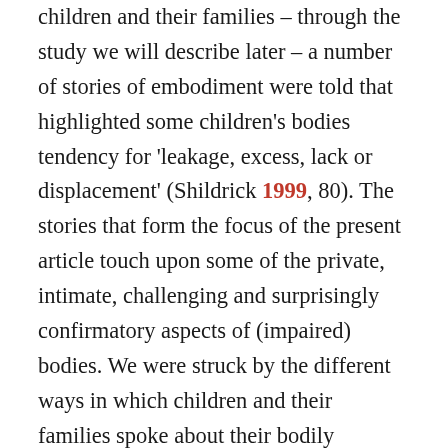children and their families – through the study we will describe later – a number of stories of embodiment were told that highlighted some children's bodies tendency for 'leakage, excess, lack or displacement' (Shildrick 1999, 80). The stories that form the focus of the present article touch upon some of the private, intimate, challenging and surprisingly confirmatory aspects of (impaired) bodies. We were struck by the different ways in which children and their families spoke about their bodily functions. Their feelings included embarrassment, reticence and shame. Simultaneously, discussions of some of the more intimate elements of non-normative bodies were expressed in terms of relief, pride and indignation at the reactions of (non-disabled) others. The bodies of disabled children and their intimate embodied...